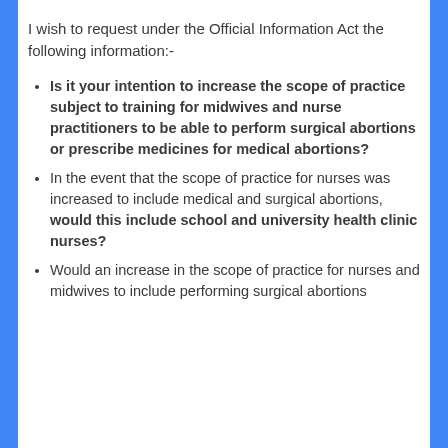I wish to request under the Official Information Act the following information:-
Is it your intention to increase the scope of practice subject to training for midwives and nurse practitioners to be able to perform surgical abortions or prescribe medicines for medical abortions?
In the event that the scope of practice for nurses was increased to include medical and surgical abortions, would this include school and university health clinic nurses?
Would an increase in the scope of practice for nurses and midwives to include performing surgical abortions...